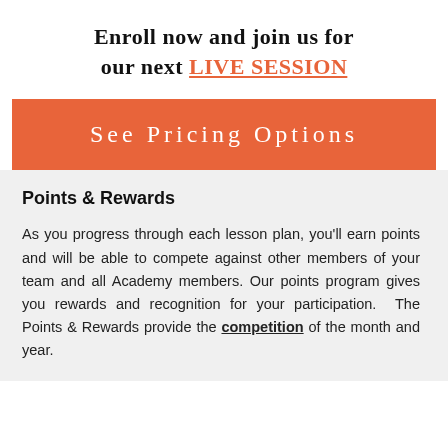Enroll now and join us for our next LIVE SESSION
See Pricing Options
Points & Rewards
As you progress through each lesson plan, you'll earn points and will be able to compete against other members of your team and all Academy members. Our points program gives you rewards and recognition for your participation. The Points & Rewards provide the competition of the month and year.